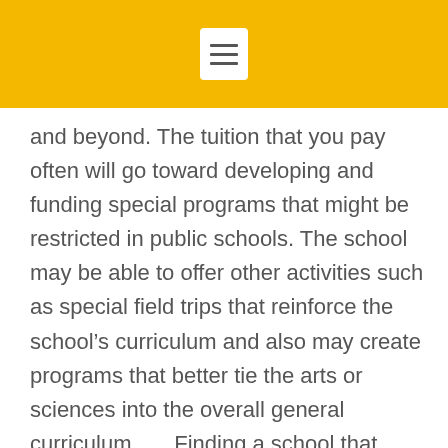and beyond. The tuition that you pay often will go toward developing and funding special programs that might be restricted in public schools. The school may be able to offer other activities such as special field trips that reinforce the school’s curriculum and also may create programs that better tie the arts or sciences into the overall general curriculum.      Finding a school that matches your own perspective is more likely to create a positive, productive academic experience for your child. Choosing the right private school will not only allow your student to survive but to thrive in a supportive environment while gaining unique skills that fit their learning style.